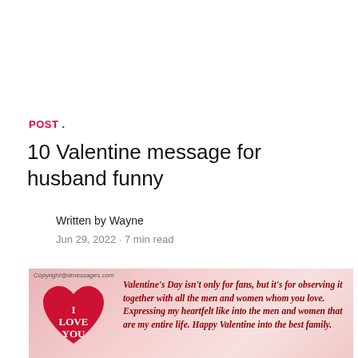POST .
10 Valentine message for husband funny
Written by Wayne
Jun 29, 2022 · 7 min read
[Figure (photo): Valentine's Day themed image with a red heart showing 'I LOVE YOU' text and italic bold red text reading: Valentine's Day isn't only for fans, but it's for observing it together with all the men and women whom you love. Expressing my heartfelt like into the men and women that are my entire life. Happy Valentine into the best family. Copyright@dmessages.com watermark visible.]